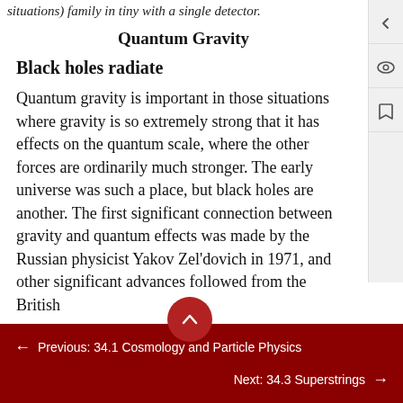situations) family in tiny with a single detector.
Quantum Gravity
Black holes radiate
Quantum gravity is important in those situations where gravity is so extremely strong that it has effects on the quantum scale, where the other forces are ordinarily much stronger. The early universe was such a place, but black holes are another. The first significant connection between gravity and quantum effects was made by the Russian physicist Yakov Zel'dovich in 1971, and other significant advances followed from the British
Previous: 34.1 Cosmology and Particle Physics
Next: 34.3 Superstrings